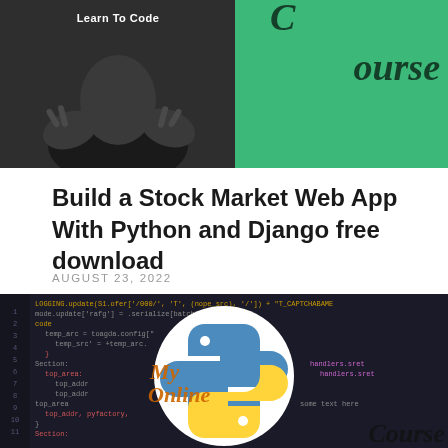[Figure (photo): Top thumbnail image showing a person making hand gestures on dark background left side, and green background with cursive 'ourse' text on right side — partially cropped at top]
Build a Stock Market Web App With Python and Django free download
AUGUST 23, 2022
[Figure (photo): Bottom thumbnail image showing dark code editor background with Python logo (blue and yellow snake logo) overlaid in a white circle, and 'MyOnlineCourse' text in orange italic script over the image]